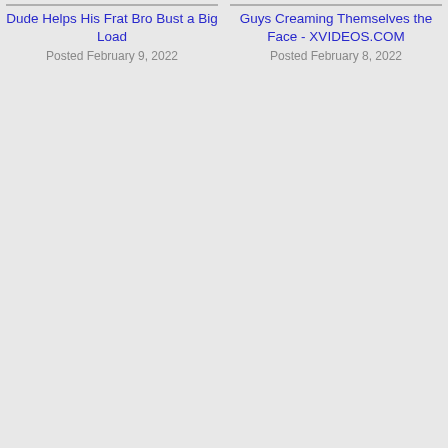Dude Helps His Frat Bro Bust a Big Load
Posted February 9, 2022
Guys Creaming Themselves the Face - XVIDEOS.COM
Posted February 8, 2022